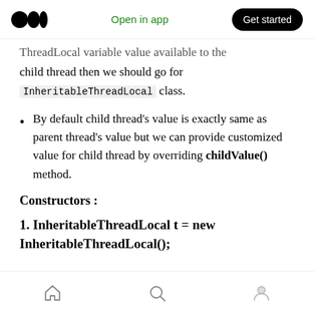Medium logo | Open in app | Get started
ThreadLocal variable value available to the child thread then we should go for InheritableThreadLocal class.
By default child thread's value is exactly same as parent thread's value but we can provide customized value for child thread by overriding childValue() method.
Constructors :
Home | Search | Profile